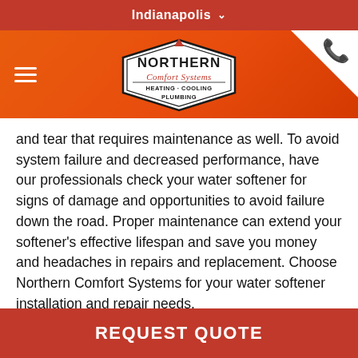Indianapolis
[Figure (logo): Northern Comfort Systems logo - Heating Cooling Plumbing, diamond/badge shape on orange background with hamburger menu and phone icon]
and tear that requires maintenance as well. To avoid system failure and decreased performance, have our professionals check your water softener for signs of damage and opportunities to avoid failure down the road. Proper maintenance can extend your softener's effective lifespan and save you money and headaches in repairs and replacement. Choose Northern Comfort Systems for your water softener installation and repair needs.
REQUEST QUOTE